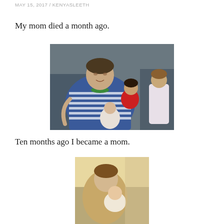MAY 15, 2017 / KENYASLEETH
My mom died a month ago.
[Figure (photo): A woman in a blue and white striped shirt with a green collar sits on a couch holding three young children — a baby in white, a toddler in red, and an older child in white on the right.]
Ten months ago I became a mom.
[Figure (photo): Partial photo at the bottom of the page, partially cut off, showing a person with a baby in a warm indoor setting.]